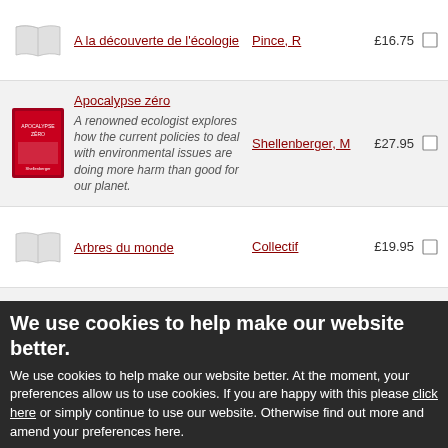A la découverte de l'écologie | Pince, R | £16.75
Apocalypse zéro | A renowned ecologist explores how the current policies to deal with environmental issues are doing more harm than good for our planet. | Shellenberger, M | £27.95
Arbres du monde | Collectif | £19.95
Arbres extraoirdinaires de France | Feterman, G | £29.95
We use cookies to help make our website better. We use cookies to help make our website better. At the moment, your preferences allow us to use cookies. If you are happy with this please click here or simply continue to use our website. Otherwise find out more and amend your preferences here.